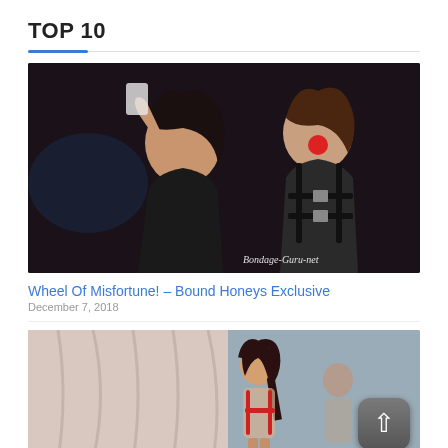TOP 10
[Figure (photo): Two women in a dark club setting, one taking a selfie wearing black leather outfit, one bound with a red ball gag and black straps/harness. Watermark reads Bondage-Guru-net]
Wheel Of Misfortune! – Bound Honeys Exclusive
December 7, 2018
[Figure (photo): A woman in a light pink/beige studio setting near a curtain, wearing bondage restraints and red accessories, another figure visible in background]